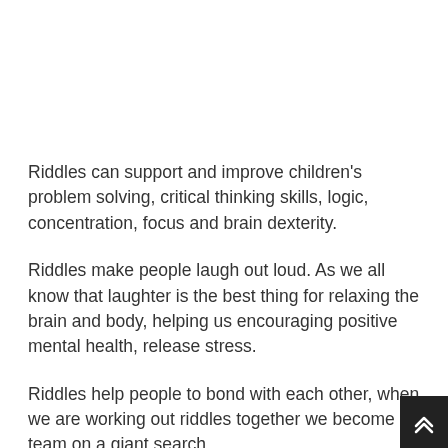Riddles can support and improve children's problem solving, critical thinking skills, logic, concentration, focus and brain dexterity.
Riddles make people laugh out loud. As we all know that laughter is the best thing for relaxing the brain and body, helping us encouraging positive mental health, release stress.
Riddles help people to bond with each other, when we are working out riddles together we become a team on a giant search.